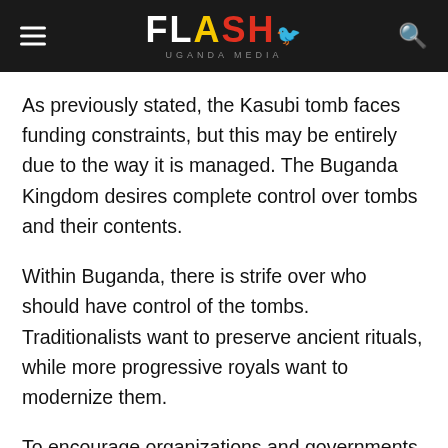Flash Uganda Media
As previously stated, the Kasubi tomb faces funding constraints, but this may be entirely due to the way it is managed. The Buganda Kingdom desires complete control over tombs and their contents.
Within Buganda, there is strife over who should have control of the tombs. Traditionalists want to preserve ancient rituals, while more progressive royals want to modernize them.
To encourage organizations and governments to